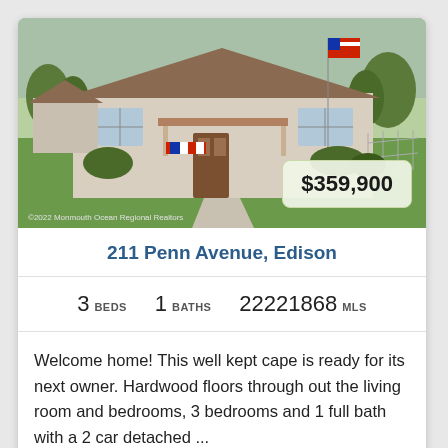[Figure (photo): Exterior photo of a small cape-style house with green lawn, front walkway, American flag on a pole, covered porch with patriotic bunting, and beige siding. Price badge showing $359,900 overlaid in bottom right. Photo credit: ©2022 Monmouth Ocean Regional Realtors]
211 Penn Avenue, Edison
3 BEDS   1 BATHS   22221868 MLS
Welcome home! This well kept cape is ready for its next owner. Hardwood floors through out the living room and bedrooms, 3 bedrooms and 1 full bath with a 2 car detached ...